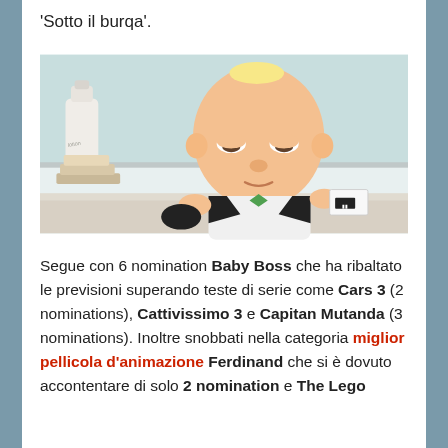'Sotto il burqa'.
[Figure (photo): Still from the animated movie Baby Boss (Boss Baby): an animated baby in a suit lying on a table holding a business card, in a bathroom setting with a lotion bottle visible in background.]
Segue con 6 nomination Baby Boss che ha ribaltato le previsioni superando teste di serie come Cars 3 (2 nominations), Cattivissimo 3 e Capitan Mutanda (3 nominations). Inoltre snobbati nella categoria miglior pellicola d'animazione Ferdinand che si è dovuto accontentare di solo 2 nomination e The Lego